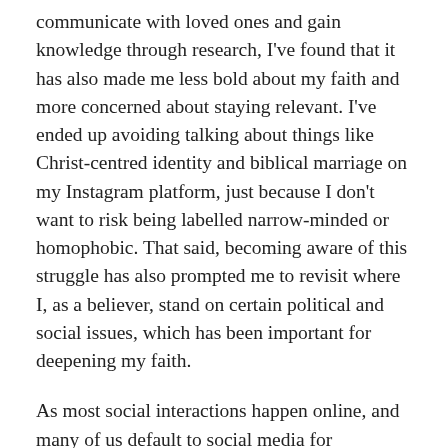communicate with loved ones and gain knowledge through research, I've found that it has also made me less bold about my faith and more concerned about staying relevant. I've ended up avoiding talking about things like Christ-centred identity and biblical marriage on my Instagram platform, just because I don't want to risk being labelled narrow-minded or homophobic. That said, becoming aware of this struggle has also prompted me to revisit where I, as a believer, stand on certain political and social issues, which has been important for deepening my faith.
As most social interactions happen online, and many of us default to social media for communication, I believe we have more